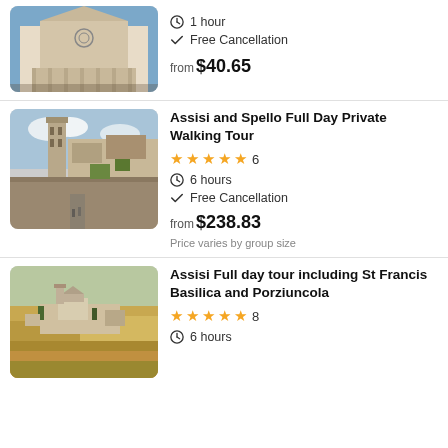[Figure (photo): Basilica of Saint Francis of Assisi exterior, top partial listing]
1 hour
Free Cancellation
from $40.65
[Figure (photo): Assisi stone buildings and walkway with bell tower]
Assisi and Spello Full Day Private Walking Tour
★★★★★ 6
6 hours
Free Cancellation
from $238.83
Price varies by group size
[Figure (photo): Aerial view of Assisi town with St Francis Basilica surrounded by countryside]
Assisi Full day tour including St Francis Basilica and Porziuncola
★★★★★ 8
6 hours